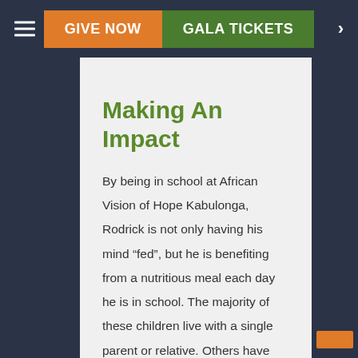GIVE NOW | GALA TICKETS
Making An Impact
By being in school at African Vision of Hope Kabulonga, Rodrick is not only having his mind “fed”, but he is benefiting from a nutritious meal each day he is in school. The majority of these children live with a single parent or relative. Others have been forced to live with